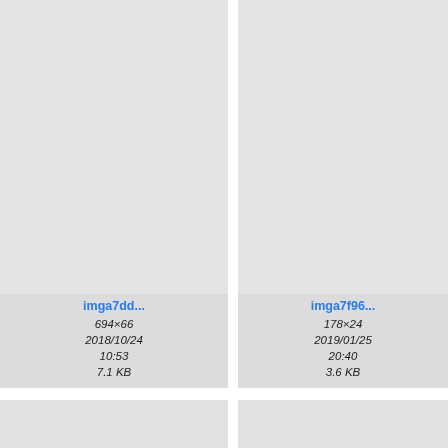[Figure (screenshot): File browser grid showing image thumbnails with metadata. Row 1: imga7dd... (694×66, 2018/10/24 10:53, 7.1 KB), imga7f96... (178×24, 2019/01/25 20:40, 3.6 KB), partial third card. Row 2: imga9a94... (569×20, 2018/12/18 16:59, 5.1 KB) with faint text preview, imga9b6a... (63×20, 2019/01/21 10:21, 3.1 KB) showing math [x0c; y0c], partial third card. Row 3: partial cards showing math formulas.]